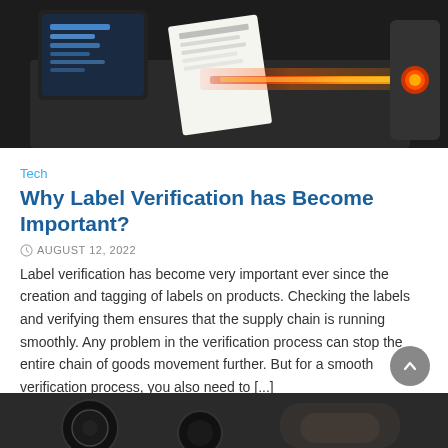[Figure (photo): A barcode or label scanner with red laser light scanning a label/receipt, with a monitor screen visible on the left showing a blue interface. Dark background with orange/red laser beam.]
Tech
Why Label Verification has Become Important?
AUGUST 12, 2022
Label verification has become very important ever since the creation and tagging of labels on products. Checking the labels and verifying them ensures that the supply chain is running smoothly. Any problem in the verification process can stop the entire chain of goods movement further. But for a smooth verification process, you also need to [...]
READ MORE
[Figure (photo): Partial photo at bottom of page, appears to show person or hands, partially cropped.]